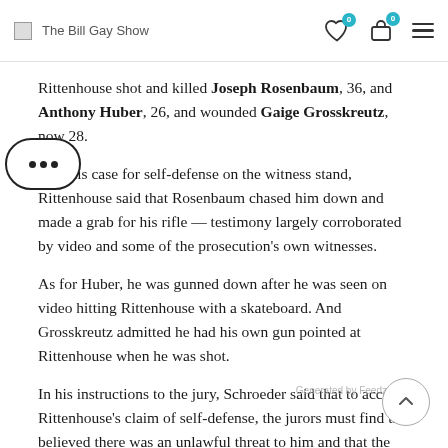The Bill Gay Show
Rittenhouse shot and killed Joseph Rosenbaum, 36, and Anthony Huber, 26, and wounded Gaige Grosskreutz, now 28.
…king his case for self-defense on the witness stand, Rittenhouse said that Rosenbaum chased him down and made a grab for his rifle — testimony largely corroborated by video and some of the prosecution's own witnesses.
As for Huber, he was gunned down after he was seen on video hitting Rittenhouse with a skateboard. And Grosskreutz admitted he had his own gun pointed at Rittenhouse when he was shot.
In his instructions to the jury, Schroeder said that to accept Rittenhouse's claim of self-defense, the jurors must find th believed there was an unlawful threat to him and that the